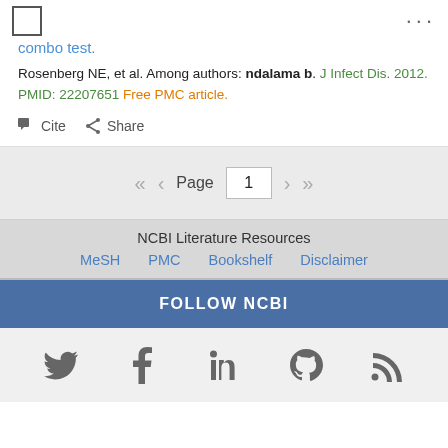combo test.
Rosenberg NE, et al. Among authors: ndalama b. J Infect Dis. 2012. PMID: 22207651 Free PMC article.
Cite  Share
Page 1
NCBI Literature Resources
MeSH  PMC  Bookshelf  Disclaimer
FOLLOW NCBI
[Figure (illustration): Social media icons: Twitter, Facebook, LinkedIn, GitHub, RSS]